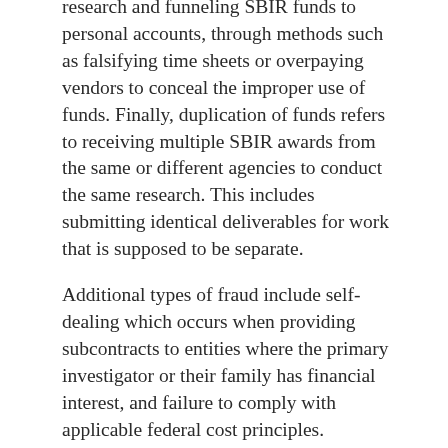research and funneling SBIR funds to personal accounts, through methods such as falsifying time sheets or overpaying vendors to conceal the improper use of funds. Finally, duplication of funds refers to receiving multiple SBIR awards from the same or different agencies to conduct the same research. This includes submitting identical deliverables for work that is supposed to be separate.
Additional types of fraud include self-dealing which occurs when providing subcontracts to entities where the primary investigator or their family has financial interest, and failure to comply with applicable federal cost principles.